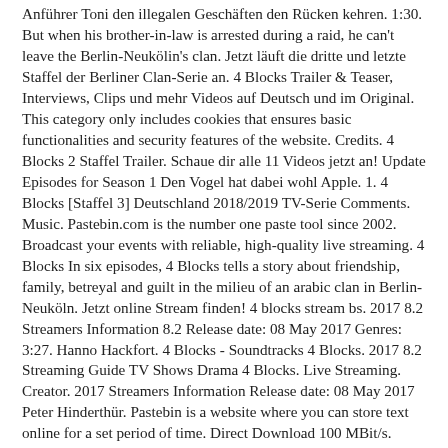Anführer Toni den illegalen Geschäften den Rücken kehren. 1:30. But when his brother-in-law is arrested during a raid, he can't leave the Berlin-Neukölin's clan. Jetzt läuft die dritte und letzte Staffel der Berliner Clan-Serie an. 4 Blocks Trailer & Teaser, Interviews, Clips und mehr Videos auf Deutsch und im Original. This category only includes cookies that ensures basic functionalities and security features of the website. Credits. 4 Blocks 2 Staffel Trailer. Schaue dir alle 11 Videos jetzt an! Update Episodes for Season 1 Den Vogel hat dabei wohl Apple. 1. 4 Blocks [Staffel 3] Deutschland 2018/2019 TV-Serie Comments. Music. Pastebin.com is the number one paste tool since 2002. Broadcast your events with reliable, high-quality live streaming. 4 Blocks In six episodes, 4 Blocks tells a story about friendship, family, betreyal and guilt in the milieu of an arabic clan in Berlin-Neuköln. Jetzt online Stream finden! 4 blocks stream bs. 2017 8.2 Streamers Information 8.2 Release date: 08 May 2017 Genres: 3:27. Hanno Hackfort. 4 Blocks - Soundtracks 4 Blocks. 2017 8.2 Streaming Guide TV Shows Drama 4 Blocks. Live Streaming. Creator. 2017 Streamers Information Release date: 08 May 2017 Peter Hinderthür. Pastebin is a website where you can store text online for a set period of time. Direct Download 100 MBit/s. Iphone 6 Passwort Vergessen. In 4 Blocks - Staffel 3 zieht sich Toni nach einem Schicksalsschlag zurück und versucht ein bürgerliches Leben zu führen. ´4 Blocks´ - die 3. Porsche Design by Hasan.K & Gringo Lyrics. 23.02.2020 - Enjoy the videos and music you share...